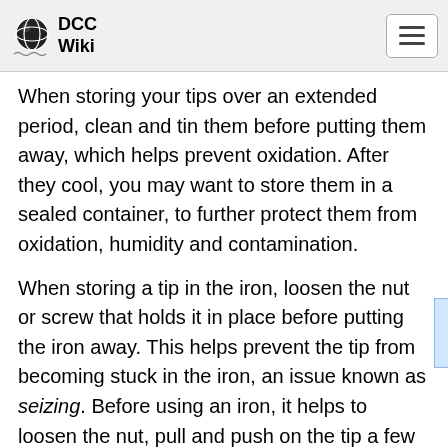DCC Wiki
When storing your tips over an extended period, clean and tin them before putting them away, which helps prevent oxidation. After they cool, you may want to store them in a sealed container, to further protect them from oxidation, humidity and contamination.
When storing a tip in the iron, loosen the nut or screw that holds it in place before putting the iron away. This helps prevent the tip from becoming stuck in the iron, an issue known as seizing. Before using an iron, it helps to loosen the nut, pull and push on the tip a few times, and then tighten the nut. This helps break any surface